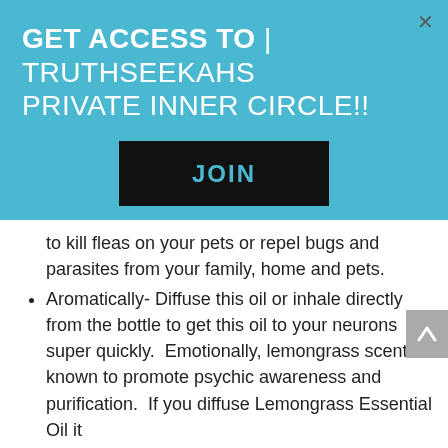GET ACCESS TO | TRUTHSEEKAHS PRIVATE INNER CIRCLE!!
[Figure (other): Black button with text JOIN in teal color]
to kill fleas on your pets or repel bugs and parasites from your family, home and pets.
Aromatically- Diffuse this oil or inhale directly from the bottle to get this oil to your neurons super quickly.  Emotionally, lemongrass scent is known to promote psychic awareness and purification.  If you diffuse Lemongrass Essential Oil it